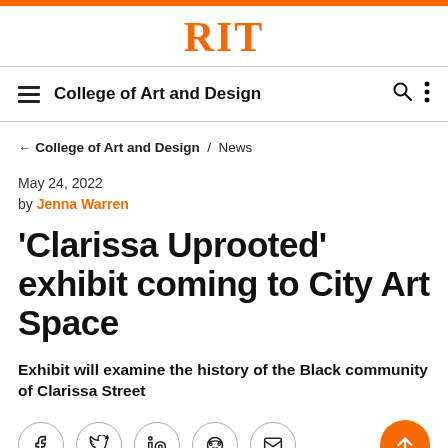RIT
College of Art and Design
← College of Art and Design / News
May 24, 2022
by Jenna Warren
'Clarissa Uprooted' exhibit coming to City Art Space
Exhibit will examine the history of the Black community of Clarissa Street